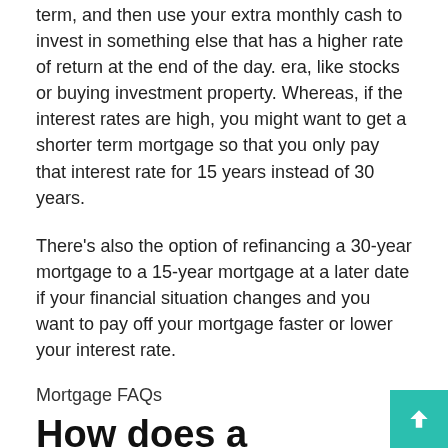term, and then use your extra monthly cash to invest in something else that has a higher rate of return at the end of the day. era, like stocks or buying investment property. Whereas, if the interest rates are high, you might want to get a shorter term mortgage so that you only pay that interest rate for 15 years instead of 30 years.
There's also the option of refinancing a 30-year mortgage to a 15-year mortgage at a later date if your financial situation changes and you want to pay off your mortgage faster or lower your interest rate.
Mortgage FAQs
How does a mortgage work?
A mortgage is a secured loan that uses the house as collateral for the lender to provide you with financing. This means that the lender will have a lien on your home until the mortgage is paid in full. After closing, you will make monthly payments, which c